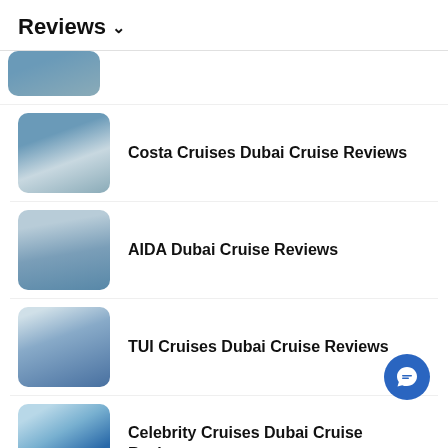Reviews ∨
Costa Cruises Dubai Cruise Reviews
AIDA Dubai Cruise Reviews
TUI Cruises Dubai Cruise Reviews
Celebrity Cruises Dubai Cruise Reviews